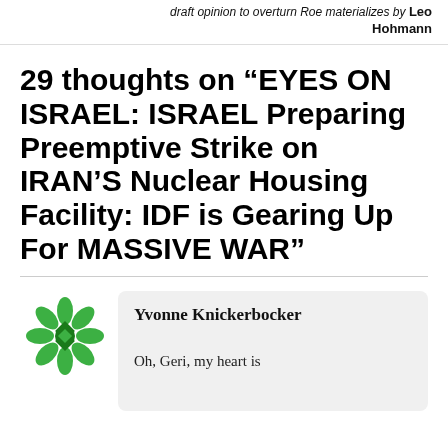draft opinion to overturn Roe materializes by Leo Hohmann
29 thoughts on “EYES ON ISRAEL: ISRAEL Preparing Preemptive Strike on IRAN’S Nuclear Housing Facility: IDF is Gearing Up For MASSIVE WAR”
Yvonne Knickerbocker
Oh, Geri, my heart is